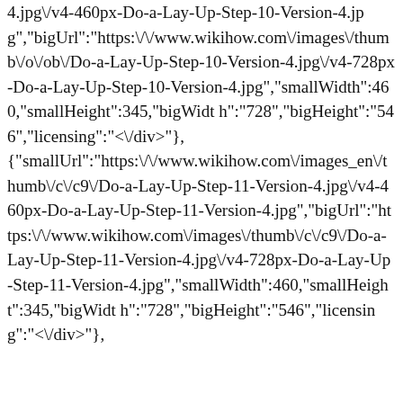4.jpg\/v4-460px-Do-a-Lay-Up-Step-10-Version-4.jpg","bigUrl":"https:\/\/www.wikihow.com\/images\/thumb\/o\/ob\/Do-a-Lay-Up-Step-10-Version-4.jpg\/v4-728px-Do-a-Lay-Up-Step-10-Version-4.jpg","smallWidth":460,"smallHeight":345,"bigWidth":"728","bigHeight":"546","licensing":"<\/div>"}, {"smallUrl":"https:\/\/www.wikihow.com\/images_en\/thumb\/c\/c9\/Do-a-Lay-Up-Step-11-Version-4.jpg\/v4-460px-Do-a-Lay-Up-Step-11-Version-4.jpg","bigUrl":"https:\/\/www.wikihow.com\/images\/thumb\/c\/c9\/Do-a-Lay-Up-Step-11-Version-4.jpg\/v4-728px-Do-a-Lay-Up-Step-11-Version-4.jpg","smallWidth":460,"smallHeight":345,"bigWidth":"728","bigHeight":"546","licensing":"<\/div>"},